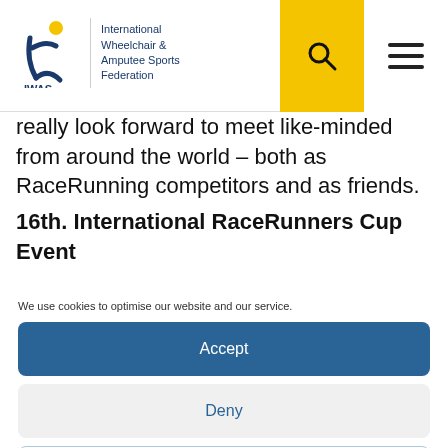International Wheelchair & Amputee Sports Federation
really look forward to meet like-minded from around the world – both as RaceRunning competitors and as friends.
16th. International RaceRunners Cup Event
We use cookies to optimise our website and our service.
Accept
Deny
Preferences
Cookie Policy   Privacy Policy